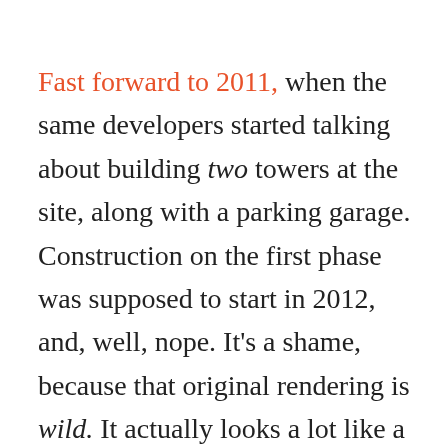Fast forward to 2011, when the same developers started talking about building two towers at the site, along with a parking garage. Construction on the first phase was supposed to start in 2012, and, well, nope. It's a shame, because that original rendering is wild. It actually looks a lot like a slightly sillier version of the Avenue, one of my favorite upcoming projects that I really, really hope isn't vaporware.